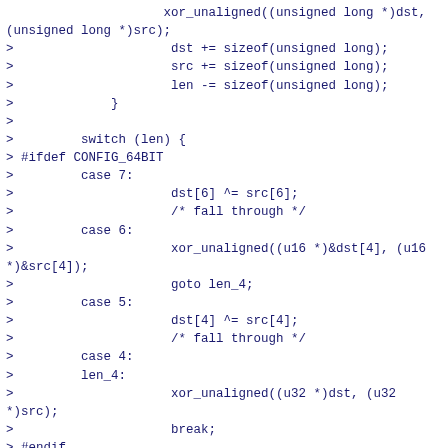xor_unaligned((unsigned long *)dst,
(unsigned long *)src);
>                     dst += sizeof(unsigned long);
>                     src += sizeof(unsigned long);
>                     len -= sizeof(unsigned long);
>             }
>
>         switch (len) {
> #ifdef CONFIG_64BIT
>         case 7:
>                     dst[6] ^= src[6];
>                     /* fall through */
>         case 6:
>                     xor_unaligned((u16 *)&dst[4], (u16
*)&src[4]);
>                     goto len_4;
>         case 5:
>                     dst[4] ^= src[4];
>                     /* fall through */
>         case 4:
>         len_4:
>                     xor_unaligned((u32 *)dst, (u32
*)src);
>                     break;
> #endif
>         case 3:
>                     dst[2] ^= src[2];
>                     /* fall through */
>         case 2:
>                     xor_unaligned((u16 *)dst, (u16
*)src);